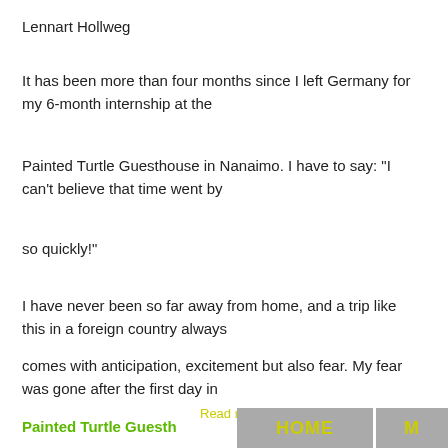Lennart Hollweg
It has been more than four months since I left Germany for my 6-month internship at the
Painted Turtle Guesthouse in Nanaimo. I have to say: “I can’t believe that time went by
so quickly!”
I have never been so far away from home, and a trip like this in a foreign country always
comes with anticipation, excitement but also fear. My fear was gone after the first day in
Read more
HOME
M
Painted Turtle Guesth